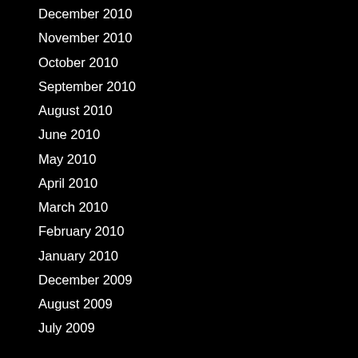December 2010
November 2010
October 2010
September 2010
August 2010
June 2010
May 2010
April 2010
March 2010
February 2010
January 2010
December 2009
August 2009
July 2009